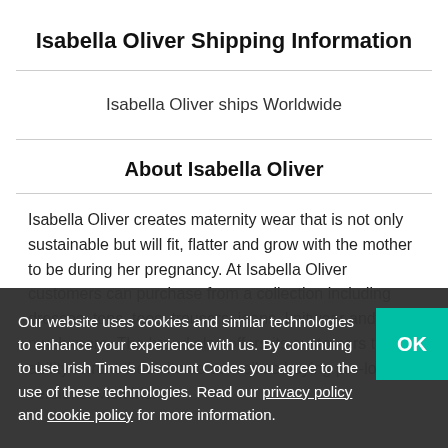Isabella Oliver Shipping Information
Isabella Oliver ships Worldwide
About Isabella Oliver
Isabella Oliver creates maternity wear that is not only sustainable but will fit, flatter and grow with the mother to be during her pregnancy. At Isabella Oliver customers can purchase from a collection including dresses, tops, tees, trousers, jeans, knitwear and so much more. The brand also offers its customers the ability to rent these items as well as buying pre-loved versions. Visit Irish
Our website uses cookies and similar technologies to enhance your experience with us. By continuing to use Irish Times Discount Codes you agree to the use of these technologies. Read our privacy policy and cookie policy for more information.